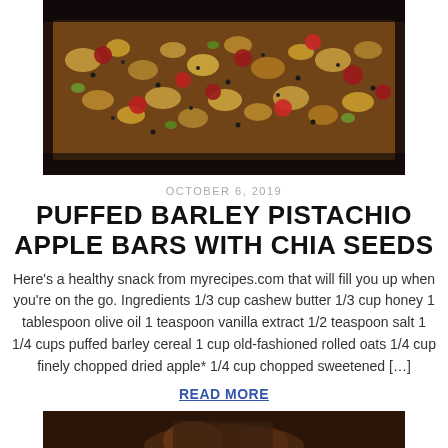[Figure (photo): Close-up photo of puffed barley pistachio apple bars with chia seeds — granola-style bars with dried cranberries, nuts, and seeds pressed together, viewed from above on a dark surface.]
OCTOBER 6, 2019
PUFFED BARLEY PISTACHIO APPLE BARS WITH CHIA SEEDS
Here's a healthy snack from myrecipes.com that will fill you up when you're on the go. Ingredients 1/3 cup cashew butter 1/3 cup honey 1 tablespoon olive oil 1 teaspoon vanilla extract 1/2 teaspoon salt 1 1/4 cups puffed barley cereal 1 cup old-fashioned rolled oats 1/4 cup finely chopped dried apple* 1/4 cup chopped sweetened [...]
READ MORE
[Figure (photo): Partial view of a food photo at the bottom of the page — appears to show a dish or bowl on a dark background.]